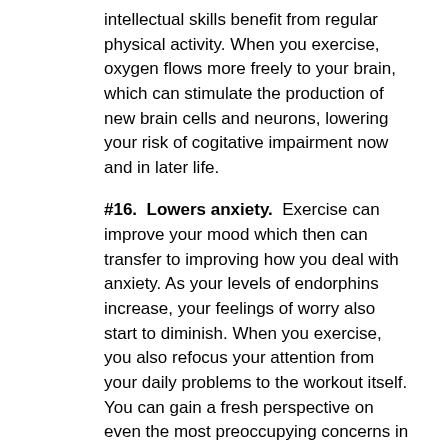intellectual skills benefit from regular physical activity. When you exercise, oxygen flows more freely to your brain, which can stimulate the production of new brain cells and neurons, lowering your risk of cogitative impairment now and in later life.
#16.  Lowers anxiety.  Exercise can improve your mood which then can transfer to improving how you deal with anxiety. As your levels of endorphins increase, your feelings of worry also start to diminish. When you exercise, you also refocus your attention from your daily problems to the workout itself. You can gain a fresh perspective on even the most preoccupying concerns in your life by taking an exercise break. When you return to these daily problems, you approach them with renewed energy. And exercise can also help manage anxiety and depression. There's a host of research proving that people with anxiety and depression can find major help in working out.